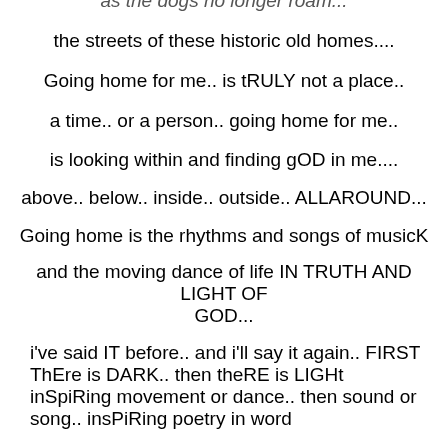as the dogs no longer roam...
the streets of these historic old homes....
Going home for me.. is tRULY not a place..
a time.. or a person.. going home for me..
is looking within and finding gOD in me....
above.. below.. inside.. outside.. ALLAROUND...
Going home is the rhythms and songs of musicK
and the moving dance of life IN TRUTH AND LIGHT OF GOD...
i've said IT before.. and i'll say it again.. FIRST ThEre is DARK.. then theRE is LIGHt inSpiRing movement or dance.. then sound or song.. insPiRing poetry in word